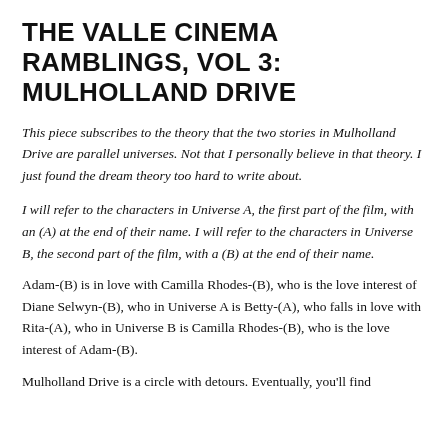THE VALLE CINEMA RAMBLINGS, VOL 3: MULHOLLAND DRIVE
This piece subscribes to the theory that the two stories in Mulholland Drive are parallel universes. Not that I personally believe in that theory. I just found the dream theory too hard to write about.
I will refer to the characters in Universe A, the first part of the film, with an (A) at the end of their name. I will refer to the characters in Universe B, the second part of the film, with a (B) at the end of their name.
Adam-(B) is in love with Camilla Rhodes-(B), who is the love interest of Diane Selwyn-(B), who in Universe A is Betty-(A), who falls in love with Rita-(A), who in Universe B is Camilla Rhodes-(B), who is the love interest of Adam-(B).
Mulholland Drive is a circle with detours. Eventually, you'll find